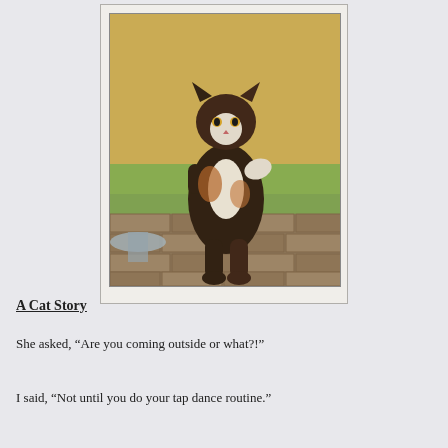[Figure (photo): A calico/tortoiseshell cat standing upright on its hind legs outside a door, appearing to knock or ask to come in. Outdoor background with grass and brick pavement visible.]
A Cat Story
She asked, “Are you coming outside or what?!”
I said, “Not until you do your tap dance routine.”